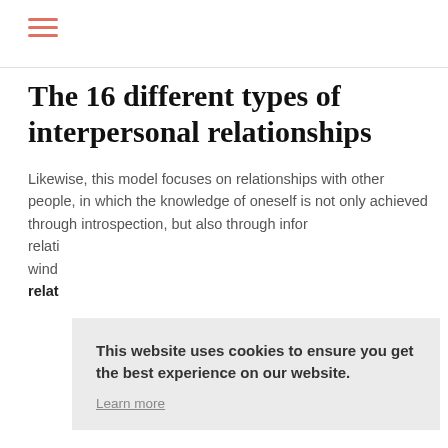The 16 different types of interpersonal relationships
Likewise, this model focuses on relationships with other people, in which the knowledge of oneself is not only achieved through introspection, but also through infor relati wind relat
This website uses cookies to ensure you get the best experience on our website. Learn more